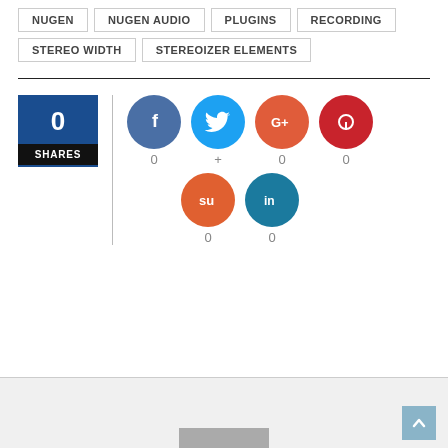NUGEN
NUGEN AUDIO
PLUGINS
RECORDING
STEREO WIDTH
STEREOIZER ELEMENTS
[Figure (infographic): Social share widget showing 0 shares total. Icons for Facebook (0), Twitter (+), Google+ (0), Pinterest (0), StumbleUpon (0), LinkedIn (0).]
[Figure (screenshot): Bottom box with gray background, partially visible content and a back-to-top arrow button in blue-gray.]